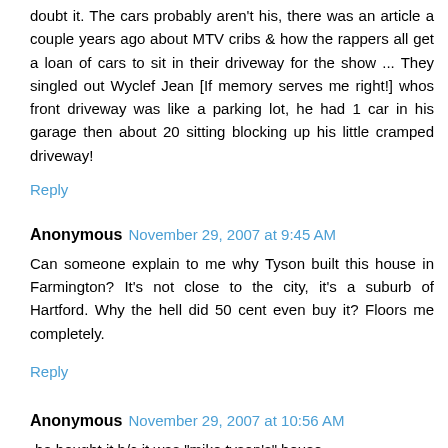doubt it. The cars probably aren't his, there was an article a couple years ago about MTV cribs & how the rappers all get a loan of cars to sit in their driveway for the show ... They singled out Wyclef Jean [If memory serves me right!] whos front driveway was like a parking lot, he had 1 car in his garage then about 20 sitting blocking up his little cramped driveway!
Reply
Anonymous November 29, 2007 at 9:45 AM
Can someone explain to me why Tyson built this house in Farmington? It's not close to the city, it's a suburb of Hartford. Why the hell did 50 cent even buy it? Floors me completely.
Reply
Anonymous November 29, 2007 at 10:56 AM
-he bought it b/c it was "mike tyson's" house.